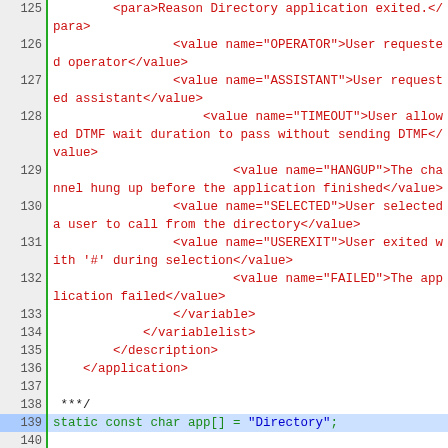[Figure (screenshot): Source code viewer showing lines 125–142 of a C/XML mixed source file with line numbers, XML markup in red, and C code in green.]